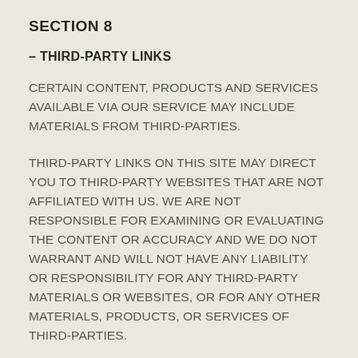SECTION 8
– THIRD-PARTY LINKS
CERTAIN CONTENT, PRODUCTS AND SERVICES AVAILABLE VIA OUR SERVICE MAY INCLUDE MATERIALS FROM THIRD-PARTIES.
THIRD-PARTY LINKS ON THIS SITE MAY DIRECT YOU TO THIRD-PARTY WEBSITES THAT ARE NOT AFFILIATED WITH US. WE ARE NOT RESPONSIBLE FOR EXAMINING OR EVALUATING THE CONTENT OR ACCURACY AND WE DO NOT WARRANT AND WILL NOT HAVE ANY LIABILITY OR RESPONSIBILITY FOR ANY THIRD-PARTY MATERIALS OR WEBSITES, OR FOR ANY OTHER MATERIALS, PRODUCTS, OR SERVICES OF THIRD-PARTIES.
WE ARE NOT LIABLE FOR ANY HARM OR DAMAGES